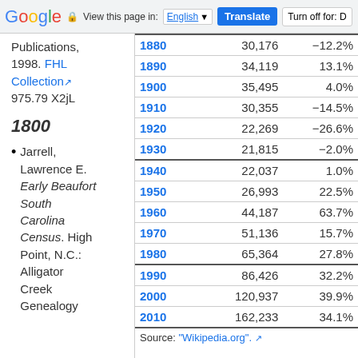Google | View this page in: English | Translate | Turn off for: D
Publications, 1998. FHL Collection 975.79 X2jL
1800
Jarrell, Lawrence E. Early Beaufort South Carolina Census. High Point, N.C.: Alligator Creek Genealogy
| Year | Population | Change |
| --- | --- | --- |
| 1880 | 30,176 | −12.2% |
| 1890 | 34,119 | 13.1% |
| 1900 | 35,495 | 4.0% |
| 1910 | 30,355 | −14.5% |
| 1920 | 22,269 | −26.6% |
| 1930 | 21,815 | −2.0% |
| 1940 | 22,037 | 1.0% |
| 1950 | 26,993 | 22.5% |
| 1960 | 44,187 | 63.7% |
| 1970 | 51,136 | 15.7% |
| 1980 | 65,364 | 27.8% |
| 1990 | 86,426 | 32.2% |
| 2000 | 120,937 | 39.9% |
| 2010 | 162,233 | 34.1% |
Source: "Wikipedia.org".